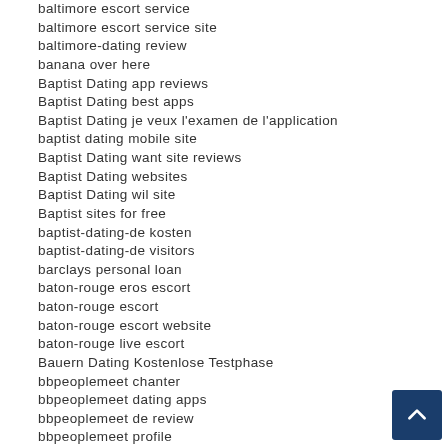baltimore escort service
baltimore escort service site
baltimore-dating review
banana over here
Baptist Dating app reviews
Baptist Dating best apps
Baptist Dating je veux l'examen de l'application
baptist dating mobile site
Baptist Dating want site reviews
Baptist Dating websites
Baptist Dating wil site
Baptist sites for free
baptist-dating-de kosten
baptist-dating-de visitors
barclays personal loan
baton-rouge eros escort
baton-rouge escort
baton-rouge escort website
baton-rouge live escort
Bauern Dating Kostenlose Testphase
bbpeoplemeet chanter
bbpeoplemeet dating apps
bbpeoplemeet de review
bbpeoplemeet profile